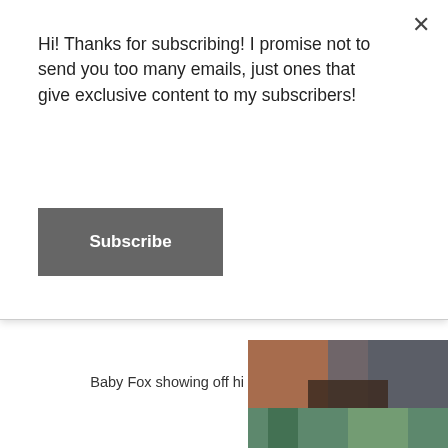Hi! Thanks for subscribing! I promise not to send you too many emails, just ones that give exclusive content to my subscribers!
Subscribe
×
[Figure (photo): Close-up photo of a baby's hands and head resting on an adult, outdoors]
Baby Fox showing off hi
[Figure (photo): Outdoor photo with tree branches visible against sky]